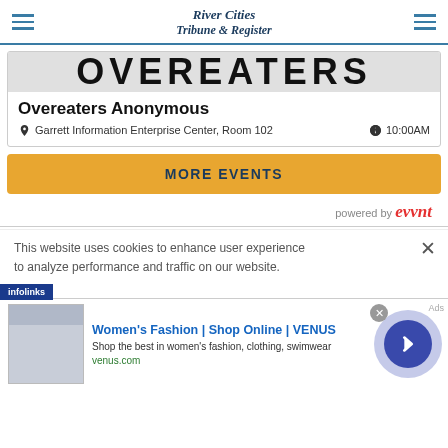River Cities Tribune & Register
[Figure (screenshot): Partial banner image showing 'OVEREATERS' text in large bold letters on dark background]
Overeaters Anonymous
Garrett Information Enterprise Center, Room 102  10:00AM
MORE EVENTS
powered by evvnt
This website uses cookies to enhance user experience to analyze performance and traffic on our website.
[Figure (screenshot): Ad banner for Women's Fashion Shop Online VENUS with product image and arrow button]